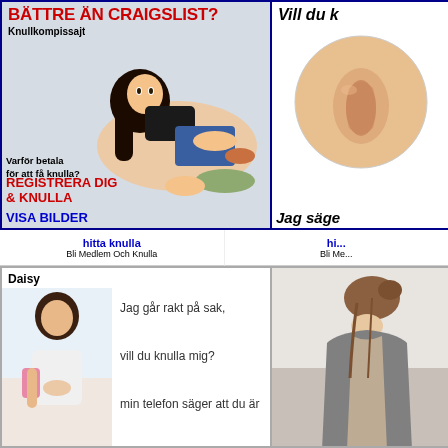[Figure (illustration): Advertisement banner left: anime illustration with Swedish text BÄTTRE ÄN CRAIGSLIST?, Knullkompissajter som verkligen fungerar, Varför betala för att få knulla?, REGISTRERA DIG & KNULLA, VISA BILDER]
[Figure (photo): Advertisement banner right: product image, text Vill du k... and Jag säge...]
hitta knulla
Bli Medlem Och Knulla
hi...
Bli Me...
[Figure (photo): Bottom left ad: Daisy profile with photo of woman and text: Jag går rakt på sak, vill du knulla mig? min telefon säger att du är 5 km bort.....]
[Figure (photo): Bottom right ad: photo of woman in grey robe from behind]